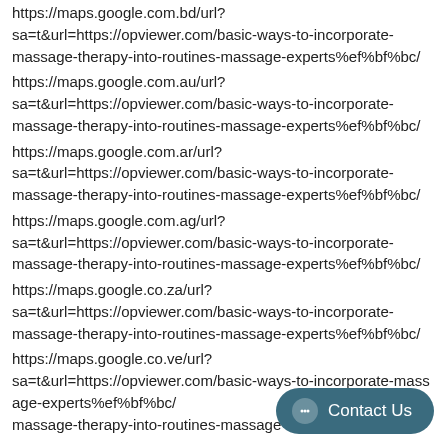https://maps.google.com.bd/url?
sa=t&url=https://opviewer.com/basic-ways-to-incorporate-massage-therapy-into-routines-massage-experts%ef%bf%bc/
https://maps.google.com.au/url?
sa=t&url=https://opviewer.com/basic-ways-to-incorporate-massage-therapy-into-routines-massage-experts%ef%bf%bc/
https://maps.google.com.ar/url?
sa=t&url=https://opviewer.com/basic-ways-to-incorporate-massage-therapy-into-routines-massage-experts%ef%bf%bc/
https://maps.google.com.ag/url?
sa=t&url=https://opviewer.com/basic-ways-to-incorporate-massage-therapy-into-routines-massage-experts%ef%bf%bc/
https://maps.google.co.za/url?
sa=t&url=https://opviewer.com/basic-ways-to-incorporate-massage-therapy-into-routines-massage-experts%ef%bf%bc/
https://maps.google.co.ve/url?
sa=t&url=https://opviewer.com/basic-ways-to-incorporate-massage-therapy-into-routines-massage-experts%ef%bf%bc/
massage-therapy-into-routines-massage-experts%ef%bf%bc/